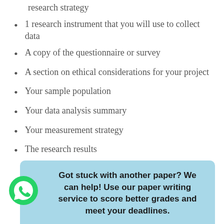research strategy
1 research instrument that you will use to collect data
A copy of the questionnaire or survey
A section on ethical considerations for your project
Your sample population
Your data analysis summary
Your measurement strategy
The research results
Got stuck with another paper? We can help! Use our paper writing service to score better grades and meet your deadlines.